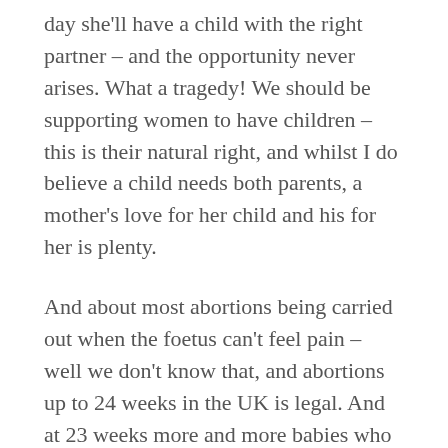day she'll have a child with the right partner – and the opportunity never arises. What a tragedy! We should be supporting women to have children – this is their natural right, and whilst I do believe a child needs both parents, a mother's love for her child and his for her is plenty.
And about most abortions being carried out when the foetus can't feel pain – well we don't know that, and abortions up to 24 weeks in the UK is legal. And at 23 weeks more and more babies who are born prematurely are surviving, so many of these aborted babies could live. Just because it's in a woman's belly does not mean it's not life. If abortion wasn't so easy then people would probably be forced to taking contraception and sex more seriously. All scriptures agree that it's morally wrong. I can't believe human beings can justify murder for their